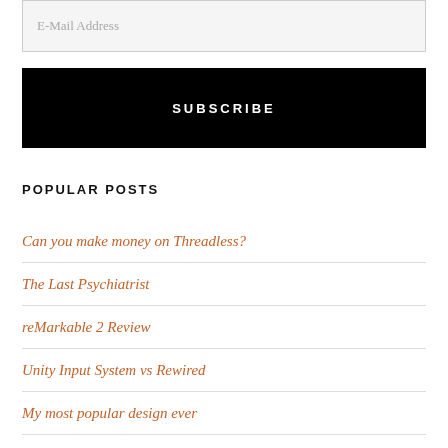E-Mail Address
SUBSCRIBE
POPULAR POSTS
Can you make money on Threadless?
The Last Psychiatrist
reMarkable 2 Review
Unity Input System vs Rewired
My most popular design ever
I hired a law firm